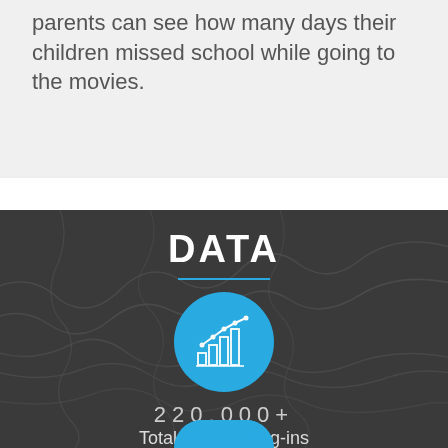parents can see how many days their children missed school while going to the movies.
DATA
[Figure (infographic): Blue circle icon containing a bar chart with a line graph overlay (analytics icon)]
220.000+
Total Monthly Log-ins
[Figure (infographic): Partially visible blue circle icon at bottom of page]